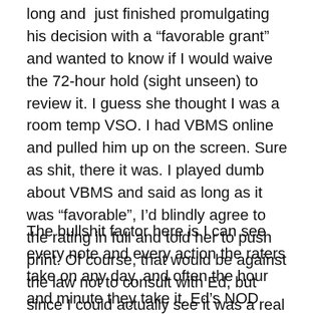long and just finished promulgating his decision with a “favorable grant” and wanted to know if I would waive the 72-hour hold (sight unseen) to review it. I guess she thought I was a room temp VSO. I had VBMS online and pulled him up on the screen. Sure as shit, there it was. I played dumb about VBMS and said as long as it was “favorable”, I’d blindly agree to the rating in full and told her to push print. Of course, that would be against the law not to consult with Ed, but since I could actually see it was a real 100% P&T grant and not another bait and switch, I agreed.
The bullshit factor here is I can see every note and every action the raters take on any day, and often the hour and minute they take it. Ed’s NOD had been as cold as a dead mackerel in winter. There hadn’t been so much as a fingerprint on it since it was stored in VBMS on